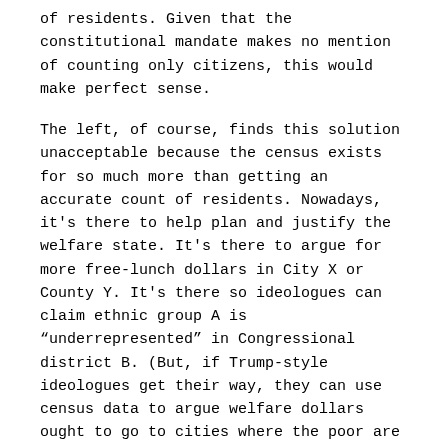of residents. Given that the constitutional mandate makes no mention of counting only citizens, this would make perfect sense.
The left, of course, finds this solution unacceptable because the census exists for so much more than getting an accurate count of residents. Nowadays, it's there to help plan and justify the welfare state. It's there to argue for more free-lunch dollars in City X or County Y. It's there so ideologues can claim ethnic group A is “underrepresented” in Congressional district B. (But, if Trump-style ideologues get their way, they can use census data to argue welfare dollars ought to go to cities where the poor are citizens rather than fresh immigrants.)
Are The Data Any Good?